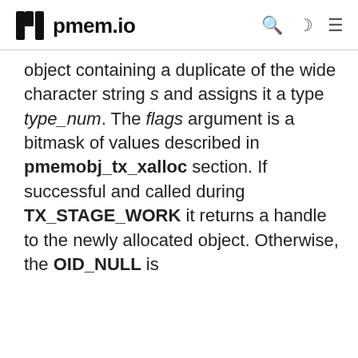pmem.io
object containing a duplicate of the wide character string s and assigns it a type type_num. The flags argument is a bitmask of values described in pmemobj_tx_xalloc section. If successful and called during TX_STAGE_WORK it returns a handle to the newly allocated object. Otherwise, the OID_NULL is